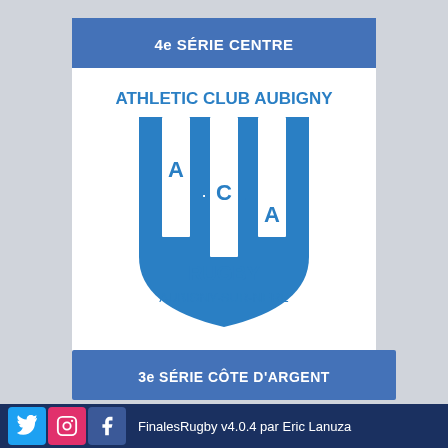4e SÉRIE CENTRE
[Figure (logo): Athletic Club Aubigny Rugby logo - blue shield with vertical white stripes and letters A.C.A., text ATHLETIC CLUB AUBIGNY above shield, RUGBY and AUBIGNY-SUR-NERE below]
3e SÉRIE CÔTE D'ARGENT
FinalesRugby v4.0.4 par Eric Lanuza